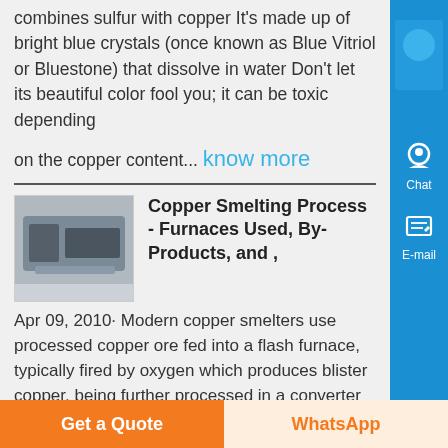Sulphate) is an artificial compound that combines sulfur with copper It's made up of bright blue crystals (once known as Blue Vitriol or Bluestone) that dissolve in water Don't let its beautiful color fool you; it can be toxic depending on the copper content... know more
Copper Smelting Process - Furnaces Used, By-Products, and ,
Apr 09, 2010· Modern copper smelters use processed copper ore fed into a flash furnace, typically fired by oxygen which produces blister copper, being further processed in a converter furnace Molten copper is poured from here into rectangular moulds, the resulting ingots subjected to electrolysis producing a metal of
Get a Quote
WhatsApp